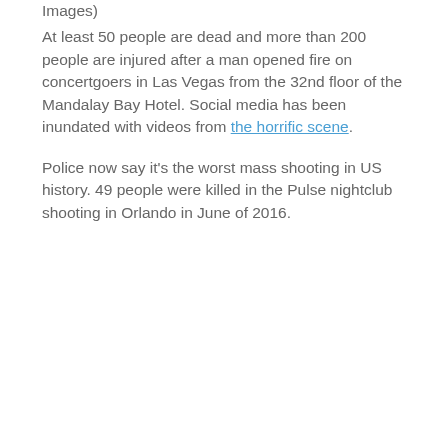Images)
At least 50 people are dead and more than 200 people are injured after a man opened fire on concertgoers in Las Vegas from the 32nd floor of the Mandalay Bay Hotel. Social media has been inundated with videos from the horrific scene.
Police now say it’s the worst mass shooting in US history. 49 people were killed in the Pulse nightclub shooting in Orlando in June of 2016.